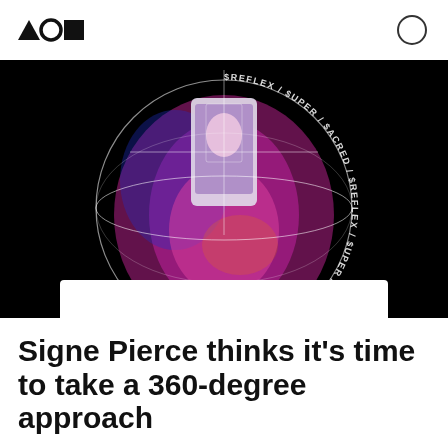AON logo and search icon
[Figure (photo): A woman with colorful makeup and blonde hair holds a smartphone above her head showing a selfie reflection. The image has a circular graphic overlay with repeating text '$REFLEX / $UPER / $ACRED' around the circle on a black background.]
Signe Pierce thinks it’s time to take a 360-degree approach